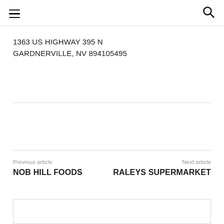≡  🔍
1363 US HIGHWAY 395 N
GARDNERVILLE, NV 894105495
Previous article
NOB HILL FOODS
Next article
RALEYS SUPERMARKET